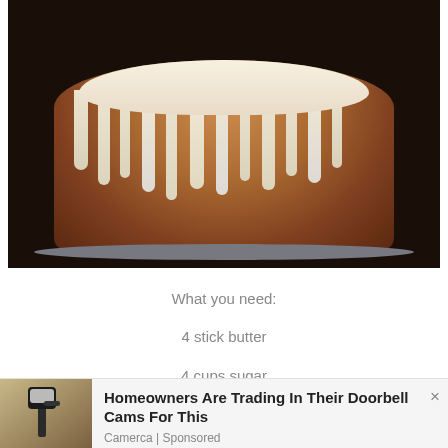[Figure (photo): A bundt cake with white cream cheese glaze/icing dripping down the sides, sitting on a plate, with a dark background.]
What you need:
4 stick butter
4 cups sugar
4 cups flour (cake or all purpose)
8 large eggs, 8 oz cream cheese
2 to 3 tsp of vanilla flavoring
[Figure (photo): Advertisement image showing an outdoor wall lamp/sconce on a stucco wall.]
Homeowners Are Trading In Their Doorbell Cams For This
Camerca | Sponsored